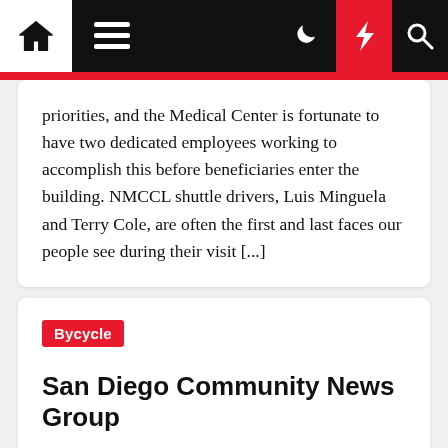Navigation bar with home, menu, dark mode, flash, and search icons
priorities, and the Medical Center is fortunate to have two dedicated employees working to accomplish this before beneficiaries enter the building. NMCCL shuttle drivers, Luis Minguela and Terry Cole, are often the first and last faces our people see during their visit [...]
Bycycle
San Diego Community News Group
Dovie Salais  2 years ago